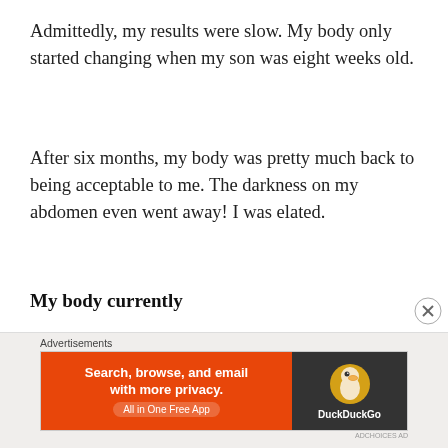Admittedly, my results were slow. My body only started changing when my son was eight weeks old.
After six months, my body was pretty much back to being acceptable to me. The darkness on my abdomen even went away! I was elated.
My body currently
[Figure (photo): A woman with long dark locs wearing a dark top, holding what appears to be a flute or similar instrument, photographed from roughly the shoulders up against a light background.]
Advertisements
[Figure (screenshot): DuckDuckGo advertisement banner: orange section with bold text 'Search, browse, and email with more privacy. All in One Free App' and dark section with DuckDuckGo duck logo and name.]